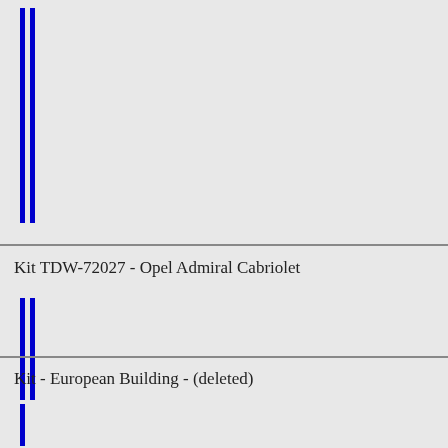[Figure (other): Top section with two vertical blue bars on the left side, spanning approximately the top quarter of the page]
Kit TDW-72027 - Opel Admiral Cabriolet
[Figure (other): Middle section with two vertical blue bars on the left side]
Kit - European Building - (deleted)
[Figure (other): Bottom section with a single vertical blue bar on the left side]